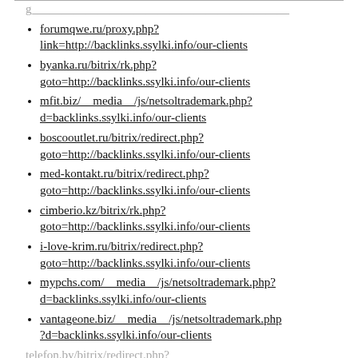forumqwe.ru/proxy.php?link=http://backlinks.ssylki.info/our-clients
byanka.ru/bitrix/rk.php?goto=http://backlinks.ssylki.info/our-clients
mfit.biz/__media__/js/netsoltrademark.php?d=backlinks.ssylki.info/our-clients
boscooutlet.ru/bitrix/redirect.php?goto=http://backlinks.ssylki.info/our-clients
med-kontakt.ru/bitrix/redirect.php?goto=http://backlinks.ssylki.info/our-clients
cimberio.kz/bitrix/rk.php?goto=http://backlinks.ssylki.info/our-clients
i-love-krim.ru/bitrix/redirect.php?goto=http://backlinks.ssylki.info/our-clients
mypchs.com/__media__/js/netsoltrademark.php?d=backlinks.ssylki.info/our-clients
vantageone.biz/__media__/js/netsoltrademark.php?d=backlinks.ssylki.info/our-clients
telefon.by/bitrix/redirect.php?...